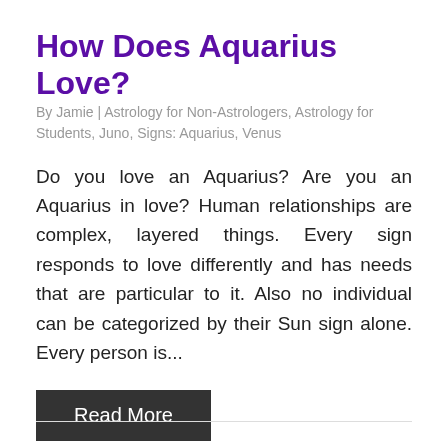How Does Aquarius Love?
By Jamie  |  Astrology for Non-Astrologers, Astrology for Students, Juno, Signs: Aquarius, Venus
Do you love an Aquarius? Are you an Aquarius in love? Human relationships are complex, layered things.  Every sign responds to love differently and has needs that are particular to it.  Also no individual can be categorized by their Sun sign alone.  Every person is...
Read More